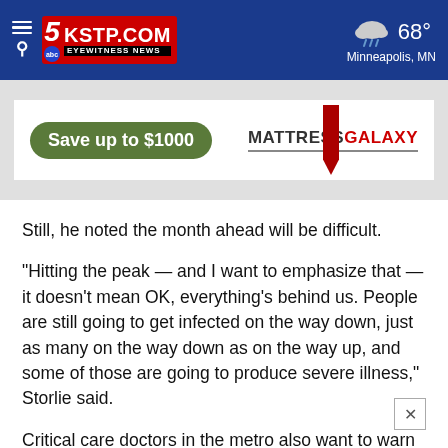KSTP.COM EYEWITNESS NEWS — 68° Minneapolis, MN
[Figure (screenshot): Advertisement banner: Save up to $1000 (Mattress Galaxy)]
Still, he noted the month ahead will be difficult.
"Hitting the peak — and I want to emphasize that — it doesn't mean OK, everything's behind us. People are still going to get infected on the way down, just as many on the way down as on the way up, and some of those are going to produce severe illness," Storlie said.
Critical care doctors in the metro also want to warn Minnesotans to be careful in the coming weeks.
"The fact of the matter is, this is not over, by a long shot. Hopefully, it's going to be soon, but we just don't know that